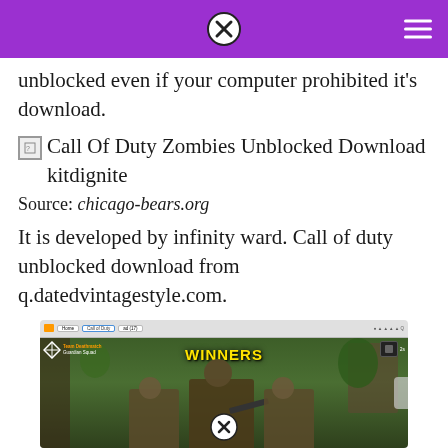unblocked even if your computer prohibited it's download.
[Figure (screenshot): Broken image icon followed by text: Call Of Duty Zombies Unblocked Download kitdignite]
Source: chicago-bears.org
It is developed by infinity ward. Call of duty unblocked download from q.datedvintagestyle.com.
[Figure (screenshot): Screenshot of Call of Duty mobile game showing WINNERS screen in a browser window (BlueStacks emulator), with soldiers in military gear and jungle/building background]